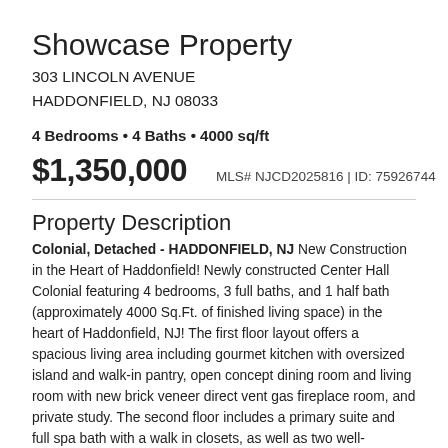Showcase Property
303 LINCOLN AVENUE
HADDONFIELD, NJ 08033
4 Bedrooms • 4 Baths • 4000 sq/ft
$1,350,000   MLS# NJCD2025816 | ID: 75926744
Property Description
Colonial, Detached - HADDONFIELD, NJ New Construction in the Heart of Haddonfield! Newly constructed Center Hall Colonial featuring 4 bedrooms, 3 full baths, and 1 half bath (approximately 4000 Sq.Ft. of finished living space) in the heart of Haddonfield, NJ! The first floor layout offers a spacious living area including gourmet kitchen with oversized island and walk-in pantry, open concept dining room and living room with new brick veneer direct vent gas fireplace room, and private study. The second floor includes a primary suite and full spa bath with a walk in closets, as well as two well-appointed bedrooms and two full baths. The third floor offers a private bedroom and full bath. Additional